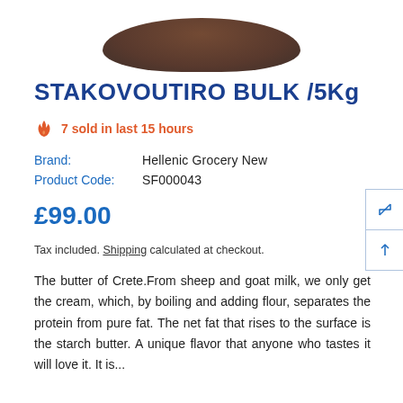[Figure (photo): Partial product image of stakovoutiro (Cretan butter), showing a dark brown bowl or container, cropped at the top of the page]
STAKOVOUTIRO BULK /5Kg
7 sold in last 15 hours
Brand: Hellenic Grocery New
Product Code: SF000043
£99.00
Tax included. Shipping calculated at checkout.
The butter of Crete.From sheep and goat milk, we only get the cream, which, by boiling and adding flour, separates the protein from pure fat. The net fat that rises to the surface is the starch butter. A unique flavor that anyone who tastes it will love it. It is...